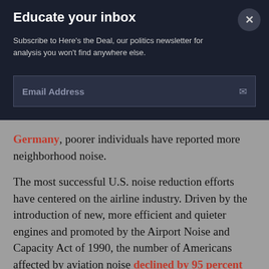Educate your inbox
Subscribe to Here's the Deal, our politics newsletter for analysis you won't find anywhere else.
Email Address
Germany, poorer individuals have reported more neighborhood noise.
The most successful U.S. noise reduction efforts have centered on the airline industry. Driven by the introduction of new, more efficient and quieter engines and promoted by the Airport Noise and Capacity Act of 1990, the number of Americans affected by aviation noise declined by 95 percent between 1975 and 2000.